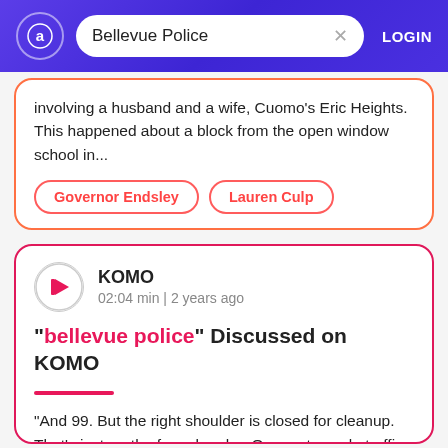Bellevue Police — LOGIN
involving a husband and a wife, Cuomo's Eric Heights. This happened about a block from the open window school in...
Governor Endsley
Lauren Culp
KOMO
02:04 min | 2 years ago
"bellevue police" Discussed on KOMO
"And 99. But the right shoulder is closed for cleanup. That's just north of royal probe. Our next couple traffic isn't for 14. Sharon's on joins us with our forecast, keeping a great